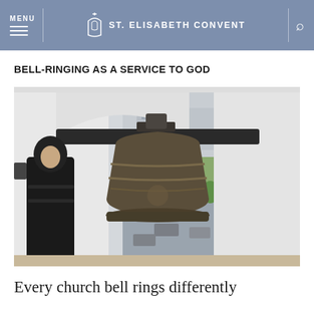MENU | ST. ELISABETH CONVENT
BELL-RINGING AS A SERVICE TO GOD
[Figure (photo): A person in a black winter coat and hood standing next to a large bronze church bell in an arched bell tower opening, with a residential area and green trees visible in the background outside.]
Every church bell rings differently